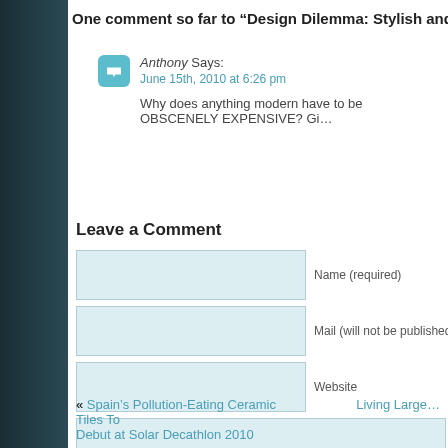One comment so far to “Design Dilemma: Stylish and/or Eco-Friend…
Anthony Says:
June 15th, 2010 at 6:26 pm
Why does anything modern have to be OBSCENELY EXPENSIVE? Gi…
Leave a Comment
Name (required)
Mail (will not be published) (required)
Website
SUBMIT
« Spain’s Pollution-Eating Ceramic Tiles To Debut at Solar Decathlon 2010
Living Large …